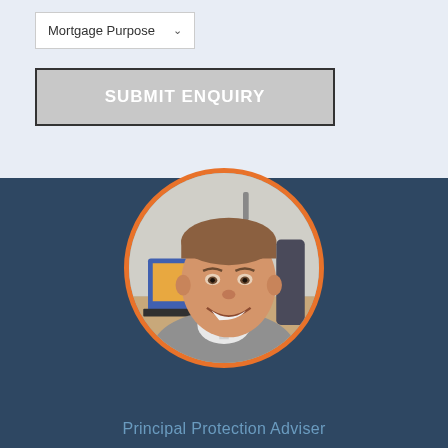[Figure (screenshot): Dropdown field labeled 'Mortgage Purpose' with a down chevron arrow, displayed as a white select box with border on a light blue-grey background.]
[Figure (screenshot): A grey 'SUBMIT ENQUIRY' button with dark border, white bold uppercase text, on a light blue-grey background.]
[Figure (photo): Circular portrait photo of a smiling man in a grey suit sitting at a desk with a laptop, framed with an orange circle border, on a dark navy blue background.]
Principal Protection Adviser